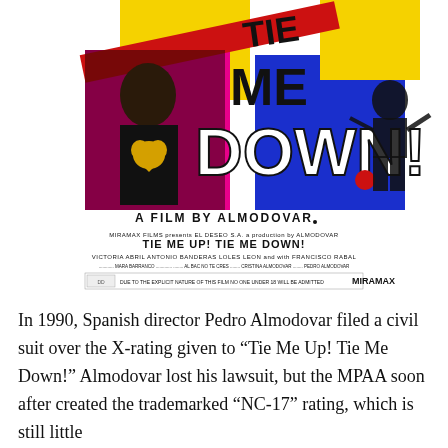[Figure (photo): Movie poster for 'Tie Me Up! Tie Me Down!' - A Film by Almodovar. Colorful pop-art style poster with magenta, yellow, blue backgrounds, featuring a man in dark clothing holding a heart, a woman silhouette reaching out, and large stylized bold text reading 'Tie Me Down!' with subtitle credits listing Miramax Films, El Deseo S.A., Almodovar, Victoria Abril, Antonio Banderas, Loles Leon, Francisco Rabal, and Miramax logo at bottom.]
In 1990, Spanish director Pedro Almodovar filed a civil suit over the X-rating given to “Tie Me Up! Tie Me Down!” Almodovar lost his lawsuit, but the MPAA soon after created the trademarked “NC-17” rating, which is still little